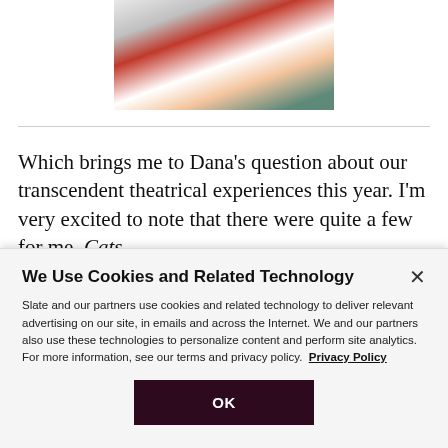[Figure (photo): Two people posing together; one wearing a red varsity jacket and the other in white, with a sash, seated/leaning in a casual outdoor setting.]
Which brings me to Dana's question about our transcendent theatrical experiences this year. I'm very excited to note that there were quite a few for me. Cats
We Use Cookies and Related Technology
Slate and our partners use cookies and related technology to deliver relevant advertising on our site, in emails and across the Internet. We and our partners also use these technologies to personalize content and perform site analytics. For more information, see our terms and privacy policy.  Privacy Policy
OK